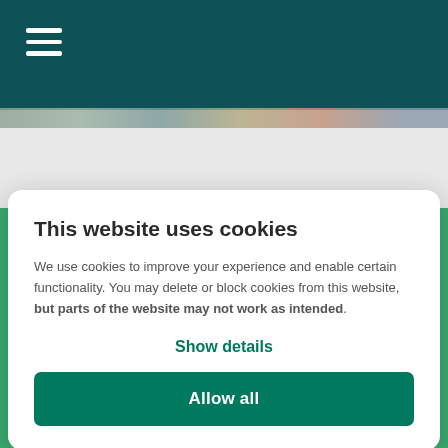[Figure (screenshot): Dark teal navigation bar at top with hamburger menu icon (three white horizontal lines), followed by a photo strip, then a green background below]
This website uses cookies
We use cookies to improve your experience and enable certain functionality. You may delete or block cookies from this website, but parts of the website may not work as intended.
Show details
Allow all
View all our locations